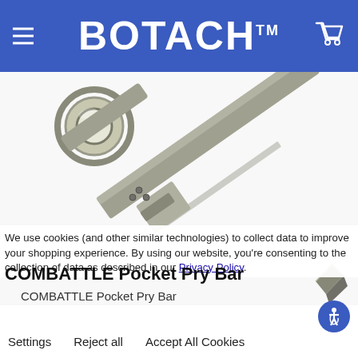BOTACH™
[Figure (photo): COMBATTLE Pocket Pry Bar product photo — a metal pry bar tool with a circular ring handle at the top-left and a flat chisel end at the bottom-right, with a clip attachment in the middle, shown on white background.]
We use cookies (and other similar technologies) to collect data to improve your shopping experience. By using our website, you're consenting to the collection of data as described in our Privacy Policy.
COMBATTLE Pocket Pry Bar
COMBATTLE Pocket Pry Bar
Settings   Reject all   Accept All Cookies